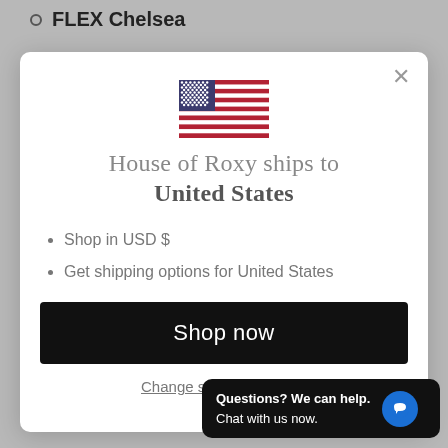FLEX Chelsea
[Figure (screenshot): Modal dialog showing US flag, 'House of Roxy ships to United States' heading, bullet points about USD and shipping options, a 'Shop now' button, and a 'Change shipping country' link]
House of Roxy ships to United States
Shop in USD $
Get shipping options for United States
Shop now
Change shipping country
Questions? We can help. Chat with us now.